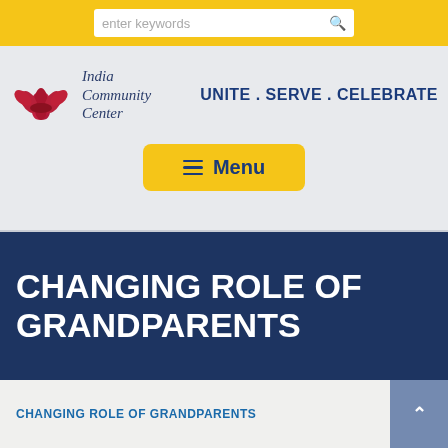enter keywords
[Figure (logo): India Community Center logo with red lotus flower and text 'India Community Center' alongside tagline 'UNITE . SERVE . CELEBRATE']
[Figure (other): Yellow menu button with hamburger icon and 'Menu' text]
CHANGING ROLE OF GRANDPARENTS
CHANGING ROLE OF GRANDPARENTS